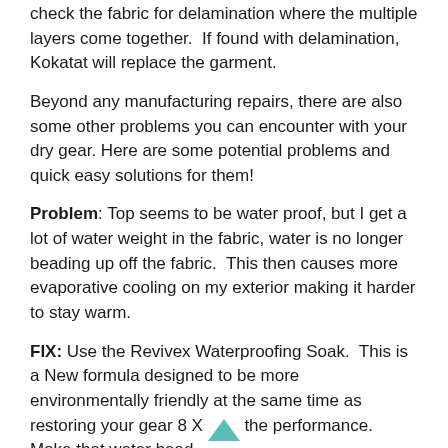check the fabric for delamination where the multiple layers come together.  If found with delamination, Kokatat will replace the garment.
Beyond any manufacturing repairs, there are also some other problems you can encounter with your dry gear. Here are some potential problems and quick easy solutions for them!
Problem: Top seems to be water proof, but I get a lot of water weight in the fabric, water is no longer beading up off the fabric.  This then causes more evaporative cooling on my exterior making it harder to stay warm.
FIX: Use the Revivex Waterproofing Soak.  This is a New formula designed to be more environmentally friendly at the same time as restoring your gear 8 X the performance. Make that water bead.